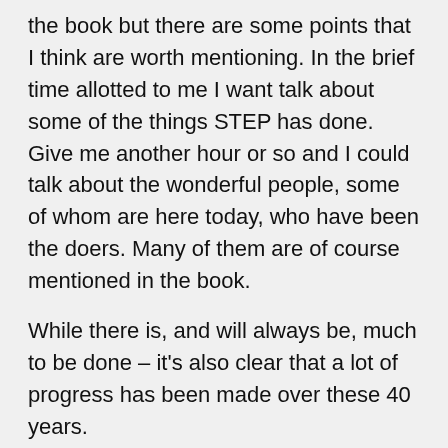the book but there are some points that I think are worth mentioning. In the brief time allotted to me I want talk about some of the things STEP has done. Give me another hour or so and I could talk about the wonderful people, some of whom are here today, who have been the doers. Many of them are of course mentioned in the book.
While there is, and will always be, much to be done – it's also clear that a lot of progress has been made over these 40 years.
In the days before bushland management existed, it was seen by those with responsibility for bushland as not much more than an area reserved for roads, playing fields, garbage tips and the like. Indeed, twice, to my knowledge, councils had to be